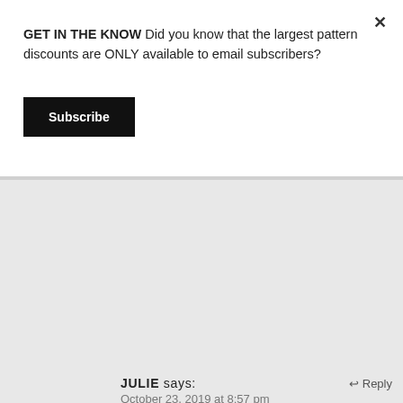GET IN THE KNOW Did you know that the largest pattern discounts are ONLY available to email subscribers?
Subscribe
JULIE says:
October 23, 2019 at 8:57 pm
Reply
[Figure (illustration): Blue circular power/user avatar icon with white power button symbol in center]
I have never knit sport weight socks before or two at a time. The latter intimidated me. Lol. These are beautiful socks. Thanks for the vanilla recipe and the giveaway!